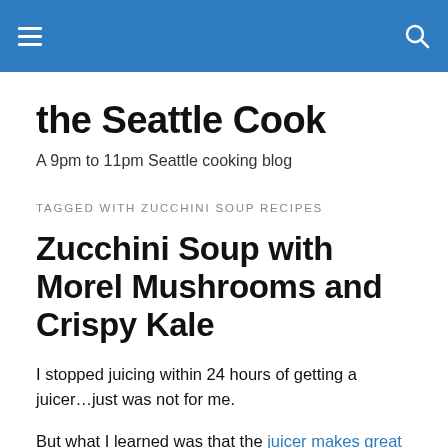the Seattle Cook [navigation bar with hamburger menu and search icon]
the Seattle Cook
A 9pm to 11pm Seattle cooking blog
TAGGED WITH ZUCCHINI SOUP RECIPES
Zucchini Soup with Morel Mushrooms and Crispy Kale
I stopped juicing within 24 hours of getting a juicer…just was not for me.
But what I learned was that the juicer makes great cocktails and so I figured I could make a soup. I headed